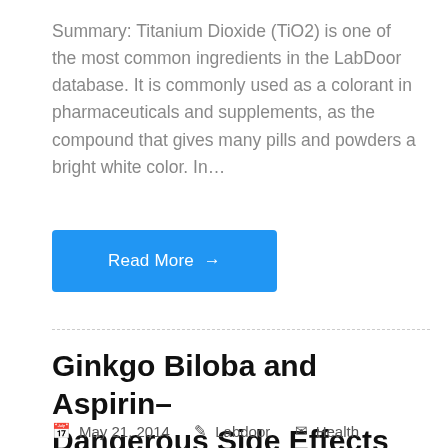Summary: Titanium Dioxide (TiO2) is one of the most common ingredients in the LabDoor database. It is commonly used as a colorant in pharmaceuticals and supplements, as the compound that gives many pills and powders a bright white color. In…
Read More →
Ginkgo Biloba and Aspirin–Dangerous Side Effects
May 21, 2014   Labdoor   Health
[Figure (photo): Close-up photo of yellow/orange pills or capsules with warm golden tones]